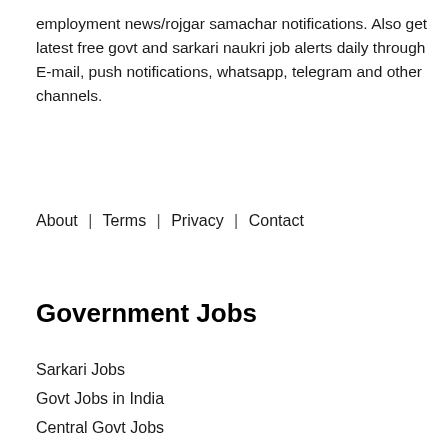employment news/rojgar samachar notifications. Also get latest free govt and sarkari naukri job alerts daily through E-mail, push notifications, whatsapp, telegram and other channels.
About | Terms | Privacy | Contact
Government Jobs
Sarkari Jobs
Govt Jobs in India
Central Govt Jobs